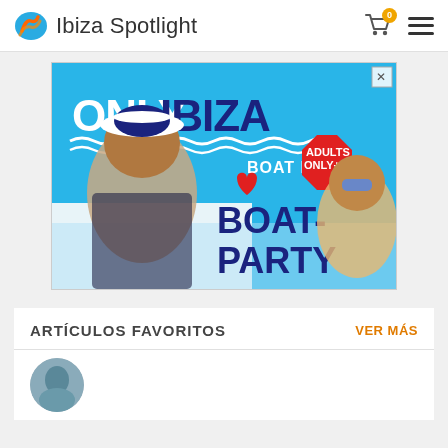Ibiza Spotlight
[Figure (photo): Only Ibiza Boat Party advertisement banner. Blue background with 'ONLY IBIZA BOAT PARTY' text, a woman in sailor hat, party-goers, heart logo, and 'ADULTS ONLY +18' badge.]
ARTÍCULOS FAVORITOS
VER MÁS
[Figure (photo): Partial thumbnail image at bottom of page, circular crop.]